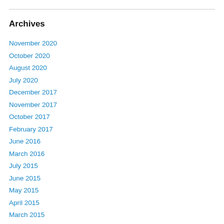Archives
November 2020
October 2020
August 2020
July 2020
December 2017
November 2017
October 2017
February 2017
June 2016
March 2016
July 2015
June 2015
May 2015
April 2015
March 2015
February 2015